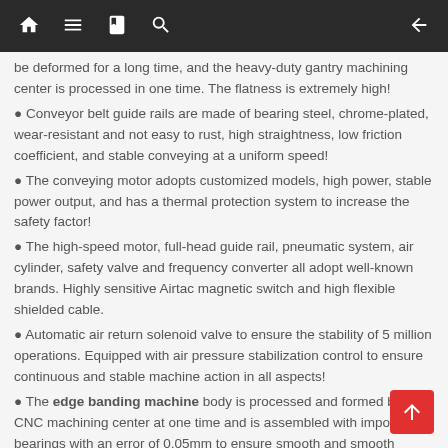Navigation bar with home, menu, book, search icons and back arrow
be deformed for a long time, and the heavy-duty gantry machining center is processed in one time. The flatness is extremely high!
Conveyor belt guide rails are made of bearing steel, chrome-plated, wear-resistant and not easy to rust, high straightness, low friction coefficient, and stable conveying at a uniform speed!
The conveying motor adopts customized models, high power, stable power output, and has a thermal protection system to increase the safety factor!
The high-speed motor, full-head guide rail, pneumatic system, air cylinder, safety valve and frequency converter all adopt well-known brands. Highly sensitive Airtac magnetic switch and high flexible shielded cable.
Automatic air return solenoid valve to ensure the stability of 5 million operations. Equipped with air pressure stabilization control to ensure continuous and stable machine action in all aspects!
The edge banding machine body is processed and formed by CNC machining center at one time and is assembled with imported bearings with an error of 0.05mm to ensure smooth and smooth overall trimming effect.
The edge banding machine body is laser cut, the surface is flat, no